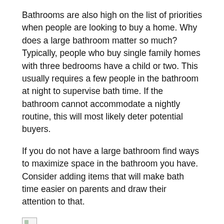Bathrooms are also high on the list of priorities when people are looking to buy a home. Why does a large bathroom matter so much? Typically, people who buy single family homes with three bedrooms have a child or two. This usually requires a few people in the bathroom at night to supervise bath time. If the bathroom cannot accommodate a nightly routine, this will most likely deter potential buyers.
If you do not have a large bathroom find ways to maximize space in the bathroom you have. Consider adding items that will make bath time easier on parents and draw their attention to that.
[Figure (photo): Broken/missing image placeholder]
HOME BUYERS WANT LARGE OUTDOOR SPACES
Parents of young children enjoy finding large yards for their children to frolic in. If you do not have a large, there really is nothing you can do about that! However, you can make your